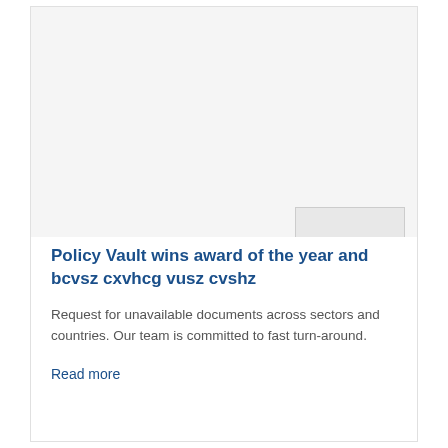[Figure (photo): Card image area with a grey placeholder image region and a small badge/award image overlay at bottom right]
Policy Vault wins award of the year and bcvsz cxvhcg vusz cvshz
Request for unavailable documents across sectors and countries. Our team is committed to fast turn-around.
Read more